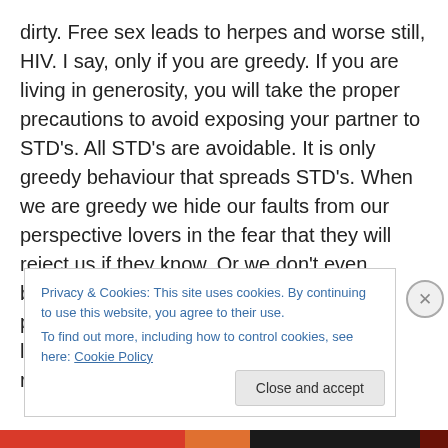dirty. Free sex leads to herpes and worse still, HIV. I say, only if you are greedy. If you are living in generosity, you will take the proper precautions to avoid exposing your partner to STD's. All STD's are avoidable. It is only greedy behaviour that spreads STD's. When we are greedy we hide our faults from our perspective lovers in the fear that they will reject us if they know. Or we don't even bother to check ourselves out in the first place. In generosity we will know that our lover's permissiveness includes a responsibility.
Privacy & Cookies: This site uses cookies. By continuing to use this website, you agree to their use. To find out more, including how to control cookies, see here: Cookie Policy